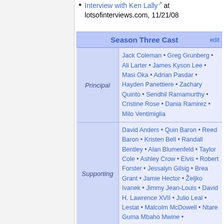Interview with Ken Lally at lotsofinterviews.com, 11/21/08
| Season Three Cast | edit |
| --- | --- |
| Principal | Jack Coleman • Greg Grunberg • Ali Larter • James Kyson Lee • Masi Oka • Adrian Pasdar • Hayden Panettiere • Zachary Quinto • Sendhil Ramamurthy • Cristine Rose • Dania Ramirez • Milo Ventimiglia |
| Supporting | David Anders • Quin Baron • Reed Baron • Kristen Bell • Randall Bentley • Alan Blumenfeld • Taylor Cole • Ashley Crow • Elvis • Robert Forster • Jessalyn Gilsig • Brea Grant • Jamie Hector • Željko Ivanek • Jimmy Jean-Louis • David H. Lawrence XVII • Julio Leal • Lestat • Malcolm McDowell • Ntare Guma Mbaho Mwine • |